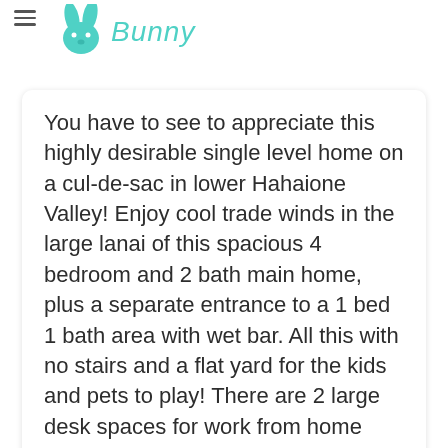Bunny
You have to see to appreciate this highly desirable single level home on a cul-de-sac in lower Hahaione Valley! Enjoy cool trade winds in the large lanai of this spacious 4 bedroom and 2 bath main home, plus a separate entrance to a 1 bed 1 bath area with wet bar. All this with no stairs and a flat yard for the kids and pets to play! There are 2 large desk spaces for work from home folks or